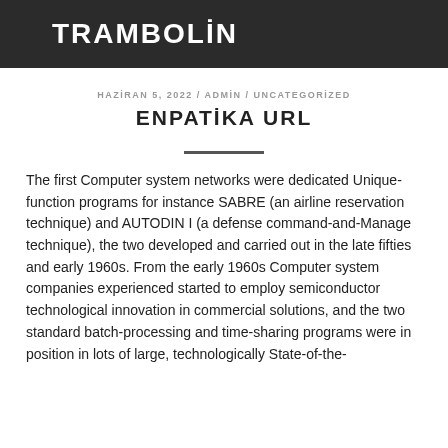TRAMBOLİN
HAZİRAN 5, 2022 / ADMİN / UNCATEGORİZED
ENPATİKA URL
The first Computer system networks were dedicated Unique-function programs for instance SABRE (an airline reservation technique) and AUTODIN I (a defense command-and-Manage technique), the two developed and carried out in the late fifties and early 1960s. From the early 1960s Computer system companies experienced started to employ semiconductor technological innovation in commercial solutions, and the two standard batch-processing and time-sharing programs were in position in lots of large, technologically State-of-the-